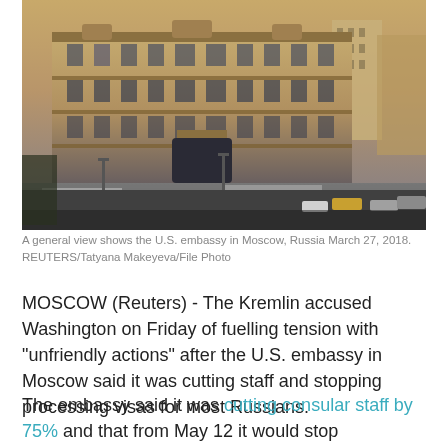[Figure (photo): Aerial/elevated view of the U.S. embassy building in Moscow, Russia, a large ornate multi-story building on a city street with snow visible, taken at dusk or dawn with warm light on the facade.]
A general view shows the U.S. embassy in Moscow, Russia March 27, 2018. REUTERS/Tatyana Makeyeva/File Photo
MOSCOW (Reuters) - The Kremlin accused Washington on Friday of fuelling tension with "unfriendly actions" after the U.S. embassy in Moscow said it was cutting staff and stopping processing visas for most Russians.
The embassy said it was cutting consular staff by 75% and that from May 12 it would stop processing non-immigrant visas for non-diplomatic travel after a